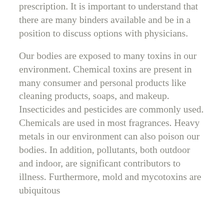prescription. It is important to understand that there are many binders available and be in a position to discuss options with physicians.
Our bodies are exposed to many toxins in our environment. Chemical toxins are present in many consumer and personal products like cleaning products, soaps, and makeup. Insecticides and pesticides are commonly used. Chemicals are used in most fragrances. Heavy metals in our environment can also poison our bodies. In addition, pollutants, both outdoor and indoor, are significant contributors to illness. Furthermore, mold and mycotoxins are ubiquitous